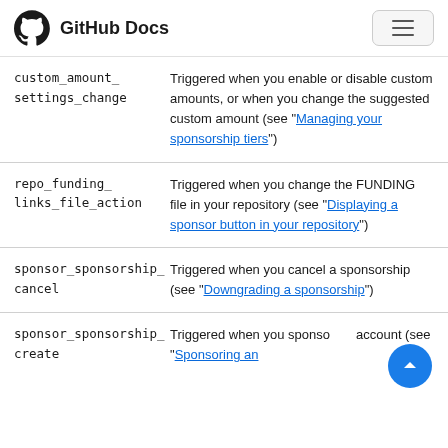GitHub Docs
| Event | Description |
| --- | --- |
| custom_amount_settings_change | Triggered when you enable or disable custom amounts, or when you change the suggested custom amount (see "Managing your sponsorship tiers") |
| repo_funding_links_file_action | Triggered when you change the FUNDING file in your repository (see "Displaying a sponsor button in your repository") |
| sponsor_sponsorship_cancel | Triggered when you cancel a sponsorship (see "Downgrading a sponsorship") |
| sponsor_sponsorship_create | Triggered when you sponsor account (see "Sponsoring an… |